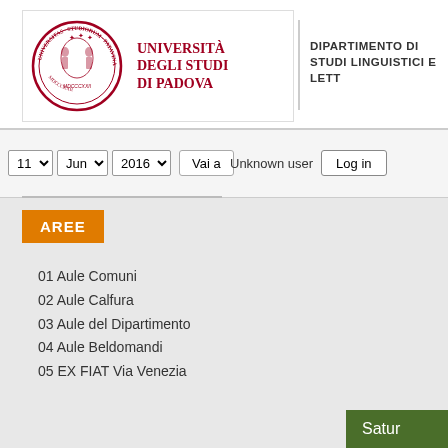[Figure (logo): Università degli Studi di Padova university seal and name logo with red circular seal on left and red text on right]
DIPARTIMENTO DI STUDI LINGUISTICI E LETT...
11 ▾  Jun ▾  2016 ▾  Vai a    Unknown user  Log in
AREE
01 Aule Comuni
02 Aule Calfura
03 Aule del Dipartimento
04 Aule Beldomandi
05 EX FIAT Via Venezia
Satur